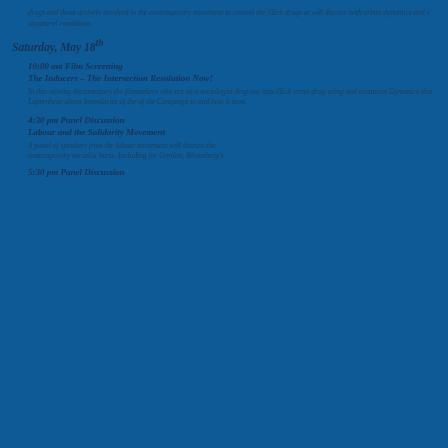drugs and those actively involved in the contemporary movement to control the illicit drugs at will discuss both urban dynamics and structural conditions.
Saturday, May 18th
10:00 am Film Screening
The Inducers – The Intersection Resolution Now!
In this moving documentary the filmmakers who are as a sociologist drop out into illicit street drug using and treatment Dynamics that Laprenheur about boundaries of the of the Campaign to and how it most
4:30 pm Panel Discussion
Labour and the Solidarity Movement
A panel of speakers from the labour movement will discuss the contemporary socialist hurts. including for Gordon, Bloomberg's
5:30 pm Panel Discussion